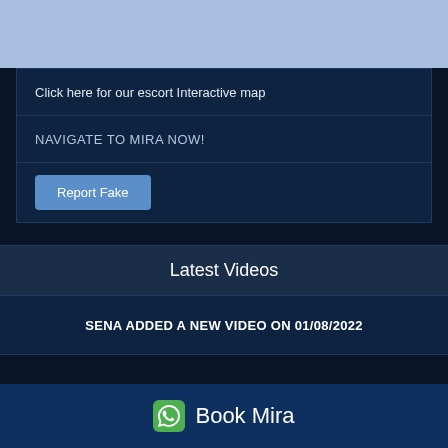[Figure (other): Light blue placeholder image area at the top of the page]
Click here for our escort Interactive map
NAVIGATE TO MIRA NOW!
Report Fake
Latest Videos
SENA ADDED A NEW VIDEO ON 01/08/2022
Book Mira